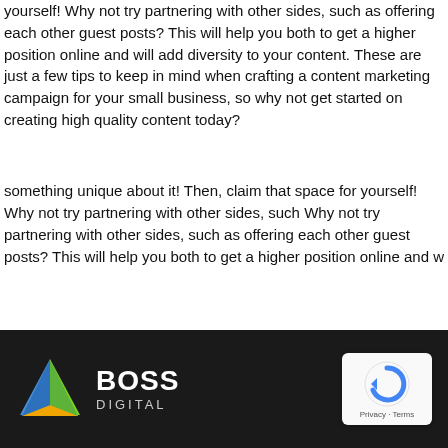yourself! Why not try partnering with other sides, such as offering each other guest posts? This will help you both to get a higher position online and will add diversity to your content. These are just a few tips to keep in mind when crafting a content marketing campaign for your small business, so why not get started on creating high quality content today?
something unique about it! Then, claim that space for yourself! Why not try partnering with other sides, such Why not try partnering with other sides, such as offering each other guest posts? This will help you both to get a higher position online and w
[Figure (logo): Boss Digital logo with colorful triangle icon on dark background, and reCAPTCHA badge on right]